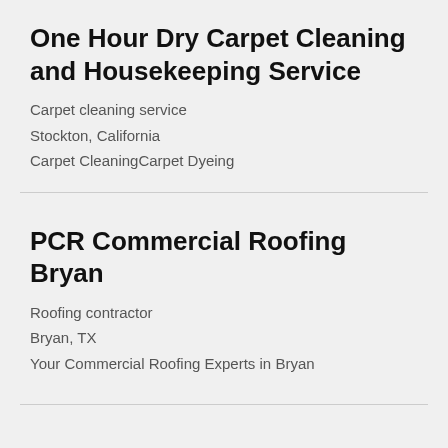One Hour Dry Carpet Cleaning and Housekeeping Service
Carpet cleaning service
Stockton, California
Carpet CleaningCarpet Dyeing
PCR Commercial Roofing Bryan
Roofing contractor
Bryan, TX
Your Commercial Roofing Experts in Bryan